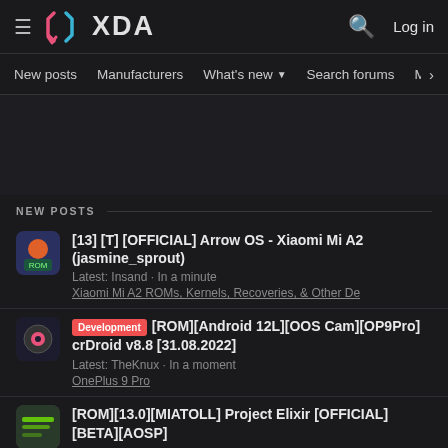XDA Forums header with hamburger menu, XDA logo, search icon, Log in
Nav: New posts | Manufacturers | What's new ▾ | Search forums | Membe >
NEW POSTS
[13] [T] [OFFICIAL] Arrow OS - Xiaomi Mi A2 (jasmine_sprout)
Latest: Insand · In a minute
Xiaomi Mi A2 ROMs, Kernels, Recoveries, & Other De
Development [ROM][Android 12L][OOS Cam][OP9Pro] crDroid v8.8 [31.08.2022]
Latest: TheKnux · In a moment
OnePlus 9 Pro
[ROM][13.0][MIATOLL] Project Elixir [OFFICIAL][BETA][AOSP]